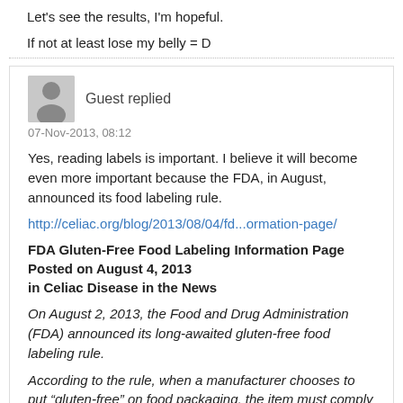Let's see the results, I'm hopeful.
If not at least lose my belly = D
Guest replied
07-Nov-2013, 08:12
Yes, reading labels is important. I believe it will become even more important because the FDA, in August, announced its food labeling rule.
http://celiac.org/blog/2013/08/04/fd...ormation-page/
FDA Gluten-Free Food Labeling Information Page
Posted on August 4, 2013
in Celiac Disease in the News
On August 2, 2013, the Food and Drug Administration (FDA) announced its long-awaited gluten-free food labeling rule.
According to the rule, when a manufacturer chooses to put “gluten-free” on food packaging, the item must comply with the new FDA definition of the term – less than 20 parts per million (ppm) of gluten. Manufacturers are encouraged to comply with the rule immediately, but have until August 5th, 2014. There is no requirement that gluten-free foods must be labeled “gluten-free.” Any food product conforming